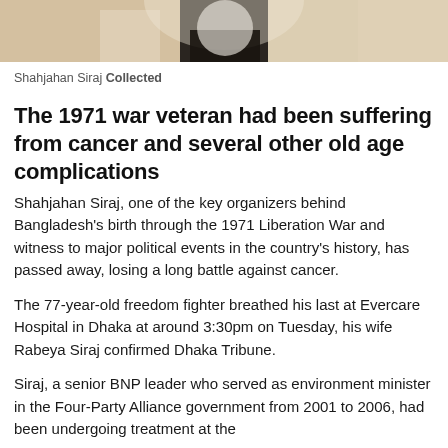[Figure (photo): Partial photo of Shahjahan Siraj visible at the top of the page, cropped to show only the lower portion of the image]
Shahjahan Siraj Collected
The 1971 war veteran had been suffering from cancer and several other old age complications
Shahjahan Siraj, one of the key organizers behind Bangladesh's birth through the 1971 Liberation War and witness to major political events in the country's history, has passed away, losing a long battle against cancer.
The 77-year-old freedom fighter breathed his last at Evercare Hospital in Dhaka at around 3:30pm on Tuesday, his wife Rabeya Siraj confirmed Dhaka Tribune.
Siraj, a senior BNP leader who served as environment minister in the Four-Party Alliance government from 2001 to 2006, had been undergoing treatment at the